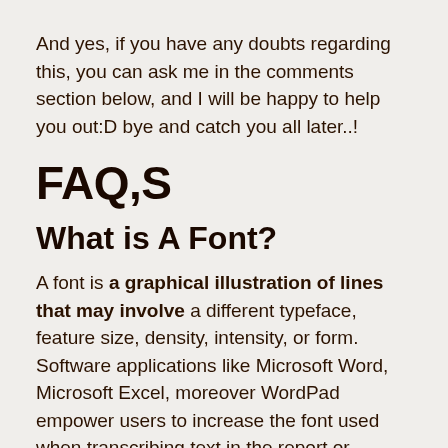And yes, if you have any doubts regarding this, you can ask me in the comments section below, and I will be happy to help you out:D bye and catch you all later..!
FAQ,S
What is A Font?
A font is a graphical illustration of lines that may involve a different typeface, feature size, density, intensity, or form. Software applications like Microsoft Word, Microsoft Excel, moreover WordPad empower users to increase the font used when transcribing text in the report or